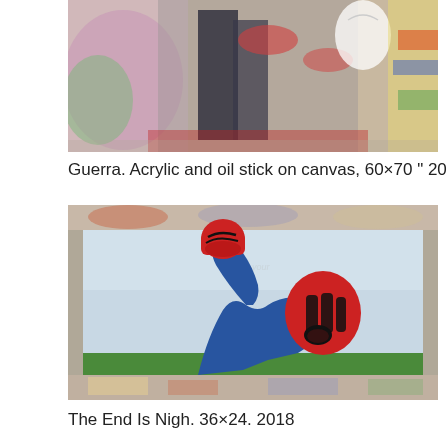[Figure (photo): Top portion of a painting titled Guerra, showing abstract acrylic and oil stick artwork on canvas with colorful background]
Guerra. Acrylic and oil stick on canvas, 60×70 " 2018
[Figure (photo): Painting titled The End Is Nigh showing a figure in blue with a raised red fist and a red circular face with black stripes, painted on canvas against a light blue background]
The End Is Nigh. 36×24. 2018